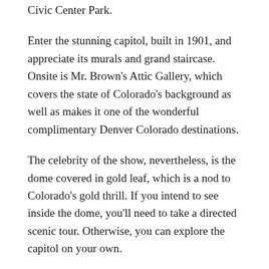Civic Center Park.
Enter the stunning capitol, built in 1901, and appreciate its murals and grand staircase. Onsite is Mr. Brown's Attic Gallery, which covers the state of Colorado's background as well as makes it one of the wonderful complimentary Denver Colorado destinations.
The celebrity of the show, nevertheless, is the dome covered in gold leaf, which is a nod to Colorado's gold thrill. If you intend to see inside the dome, you'll need to take a directed scenic tour. Otherwise, you can explore the capitol on your own.
The structure is open on weekdays except major vacations.
2. Red Rocks
Morrison is house to one of the world's most attractive outside amphitheaters, Red Rocks Amphitheater. This concert venue…